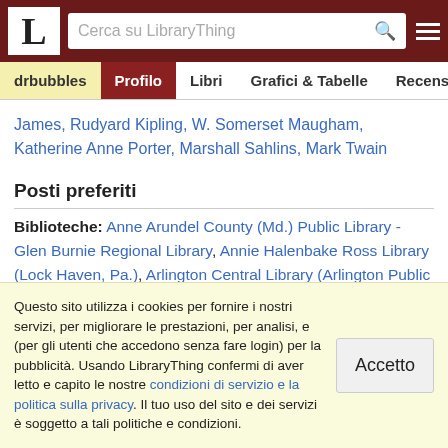LibraryThing - Cerca su LibraryThing
drbubbles | Profilo | Libri | Grafici & Tabelle | Recensioni
James, Rudyard Kipling, W. Somerset Maugham, Katherine Anne Porter, Marshall Sahlins, Mark Twain
Posti preferiti
Biblioteche: Anne Arundel County (Md.) Public Library - Glen Burnie Regional Library, Annie Halenbake Ross Library (Lock Haven, Pa.), Arlington Central Library (Arlington Public Library), Cedar Rapids Public Library, Central Library (Sheffield, UK), Chula Vista (Ca.) Public Library - Civic Center Branch, Franklin Co. (Tn.) Public Library, Hilo (Hawaii) Public Library, Iowa City (Ia.) Public ...
Questo sito utilizza i cookies per fornire i nostri servizi, per migliorare le prestazioni, per analisi, e (per gli utenti che accedono senza fare login) per la pubblicità. Usando LibraryThing confermi di aver letto e capito le nostre condizioni di servizio e la politica sulla privacy. Il tuo uso del sito e dei servizi è soggetto a tali politiche e condizioni.